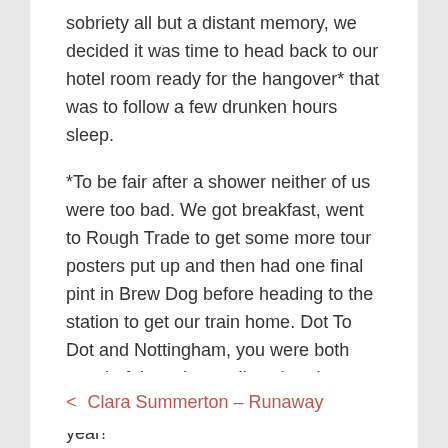sobriety all but a distant memory, we decided it was time to head back to our hotel room ready for the hangover* that was to follow a few drunken hours sleep.
*To be fair after a shower neither of us were too bad. We got breakfast, went to Rough Trade to get some more tour posters put up and then had one final pint in Brew Dog before heading to the station to get our train home. Dot To Dot and Nottingham, you were both wonderful as always. I've already purchased my early bird ticket for next year!
Tags: Gigs, Reviews
< Clara Summerton – Runaway